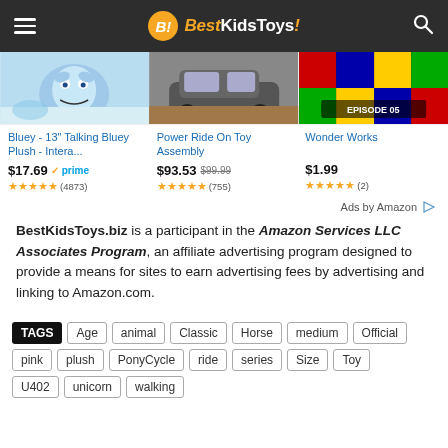BestKidsToys!
[Figure (screenshot): Three product thumbnails: Bluey plush toy, Power Ride On Toy (car), Wonder Works (LEGO episode)]
Bluey - 13" Talking Bluey Plush - Intera...
$17.69 prime (4873 reviews)
Power Ride On Toy Assembly
$93.53 $99.99 (755 reviews)
Wonder Works
$1.99 (2 reviews)
Ads by Amazon
BestKidsToys.biz is a participant in the Amazon Services LLC Associates Program, an affiliate advertising program designed to provide a means for sites to earn advertising fees by advertising and linking to Amazon.com.
TAGS: Age  animal  Classic  Horse  medium  Official  pink  plush  PonyCycle  ride  series  Size  Toy  U402  unicorn  walking